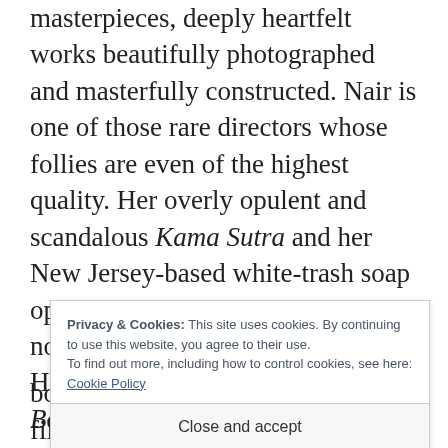masterpieces, deeply heartfelt works beautifully photographed and masterfully constructed. Nair is one of those rare directors whose follies are even of the highest quality. Her overly opulent and scandalous Kama Sutra and her New Jersey-based white-trash soap opera Hysterical Blindness are nothing if not riveting to watch. Her 1988 debut film, Salaam, Bombay! was one that I had not seen until just now after all the comparisons t...
Privacy & Cookies: This site uses cookies. By continuing to use this website, you agree to their use. To find out more, including how to control cookies, see here: Cookie Policy
Close and accept
boy in the slums. Nair made her film in a